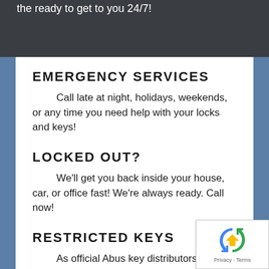the ready to get to you 24/7!
EMERGENCY SERVICES
Call late at night, holidays, weekends, or any time you need help with your locks and keys!
LOCKED OUT?
We'll get you back inside your house, car, or office fast! We're always ready. Call now!
RESTRICTED KEYS
As official Abus key distributors, we can cut high se... keys that others can't!